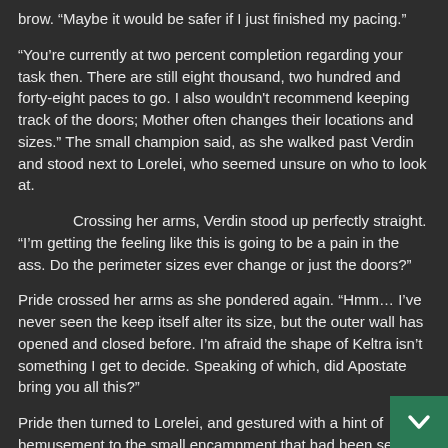brow. “Maybe it would be safer if I just finished my pacing.”
“You’re currently at two percent completion regarding your task then. There are still eight thousand, two hundred and forty-eight paces to go. I also wouldn’t recommend keeping track of the doors; Mother often changes their locations and sizes.” The small champion said, as she walked past Verdin and stood next to Lorelei, who seemed unsure on who to look at.
Crossing her arms, Verdin stood up perfectly straight. “I’m getting the feeling like this is going to be a pain in the ass. Do the perimeter sizes ever change or just the doors?”
Pride crossed her arms as she pondered again. “Hmm… I’ve never seen the keep itself alter its size, but the outer wall has opened and closed before. I’m afraid the shape of Keltra isn’t something I get to decide. Speaking of which, did Apostate bring you all this?”
Pride then turned to Lorelei, and gestured with a hint of bemusement to the small encampment that had been setup. “Oh!” Lorelei perked up, “No. I made it all. Dead sticks, Heaves, others.” She said with a shy smile, her voice...